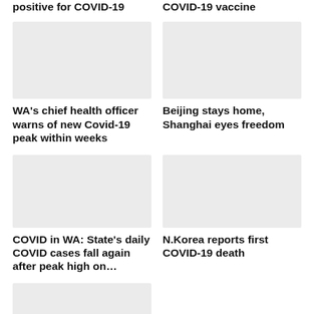positive for COVID-19
COVID-19 vaccine
[Figure (photo): News article image placeholder - WA chief health officer story]
[Figure (photo): News article image placeholder - Beijing/Shanghai story]
WA's chief health officer warns of new Covid-19 peak within weeks
Beijing stays home, Shanghai eyes freedom
[Figure (photo): News article image placeholder - COVID in WA story]
[Figure (photo): News article image placeholder - N.Korea story]
COVID in WA: State's daily COVID cases fall again after peak high on…
N.Korea reports first COVID-19 death
[Figure (photo): News article image placeholder - bottom left story]